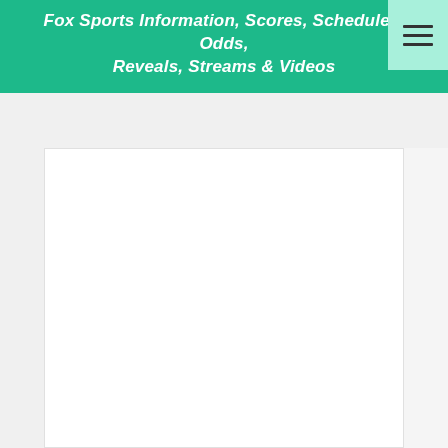Fox Sports Information, Scores, Schedules, Odds, Reveals, Streams & Videos
[Figure (screenshot): Hamburger menu icon (three horizontal lines) on a light green background in the top right corner]
[Figure (screenshot): White content area below the header, mostly blank/empty, representing a webpage content region]